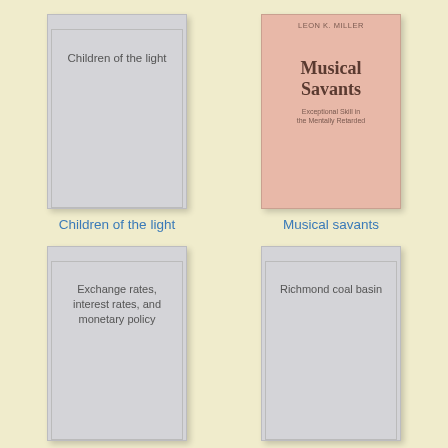[Figure (illustration): Book cover placeholder for 'Children of the light' — plain gray cover with text]
Children of the light
[Figure (illustration): Book cover for 'Musical Savants: Exceptional Skill in the Mentally Retarded' by Leon K. Miller — pink/salmon cover]
Musical savants
[Figure (illustration): Book cover placeholder for 'Exchange rates, interest rates, and monetary policy' — plain gray cover with text]
[Figure (illustration): Book cover placeholder for 'Richmond coal basin' — plain gray cover with text]